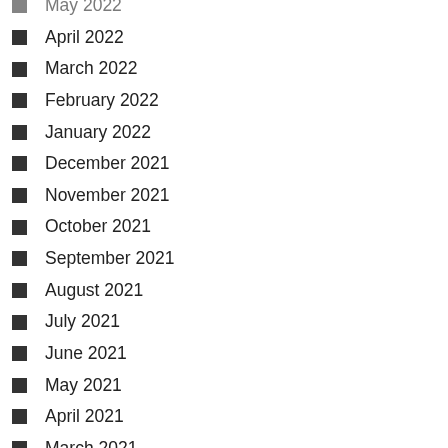May 2022
April 2022
March 2022
February 2022
January 2022
December 2021
November 2021
October 2021
September 2021
August 2021
July 2021
June 2021
May 2021
April 2021
March 2021
February 2021
January 2021